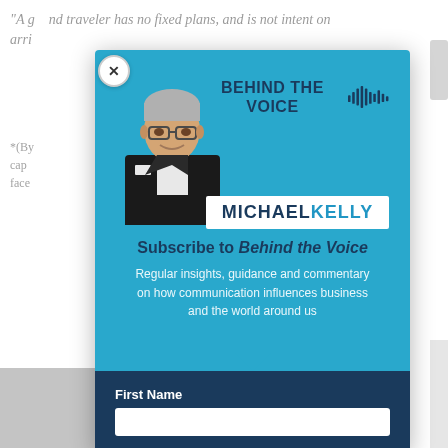"A g__d traveler has no fixed plans, and is not intent on arri..."
*(By... cap... ce, face...
Boar... Stan...
[Figure (infographic): Modal popup for 'Behind the Voice' newsletter by Michael Kelly. Teal background with photo of a man in a dark suit, 'BEHIND THE VOICE' heading with waveform icon, 'MICHAELKELLY' logo in white box, subscribe call-to-action text, and a 'First Name' input field on dark blue background.]
Subscribe to Behind the Voice
Regular insights, guidance and commentary on how communication influences business and the world around us
First Name